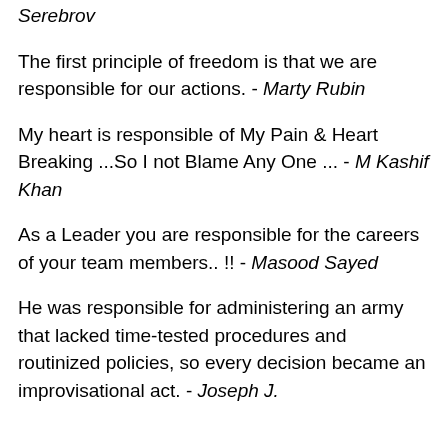Serebrov
The first principle of freedom is that we are responsible for our actions. - Marty Rubin
My heart is responsible of My Pain & Heart Breaking ...So I not Blame Any One ... - M Kashif Khan
As a Leader you are responsible for the careers of your team members.. !! - Masood Sayed
He was responsible for administering an army that lacked time-tested procedures and routinized policies, so every decision became an improvisational act. - Joseph J.